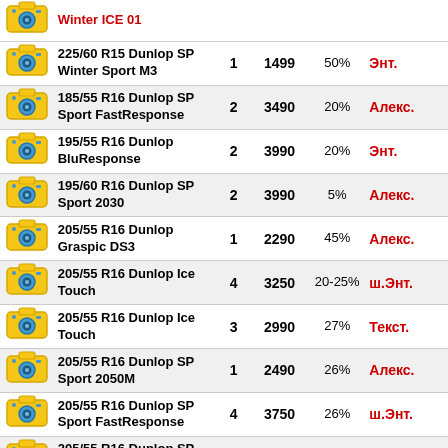|  | Название | Кол. | Цена | Скидка | Продавец |
| --- | --- | --- | --- | --- | --- |
| [icon] | Winter ICE 01 |  |  |  |  |
| [icon] | 225/60 R15 Dunlop SP Winter Sport M3 | 1 | 1499 | 50% | Энт. |
| [icon] | 185/55 R16 Dunlop SP Sport FastResponse | 2 | 3490 | 20% | Алекс. |
| [icon] | 195/55 R16 Dunlop BluResponse | 2 | 3990 | 20% | Энт. |
| [icon] | 195/60 R16 Dunlop SP Sport 2030 | 2 | 3990 | 5% | Алекс. |
| [icon] | 205/55 R16 Dunlop Graspic DS3 | 1 | 2290 | 45% | Алекс. |
| [icon] | 205/55 R16 Dunlop Ice Touch | 4 | 3250 | 20-25% | ш.Энт. |
| [icon] | 205/55 R16 Dunlop Ice Touch | 3 | 2990 | 27% | Текст. |
| [icon] | 205/55 R16 Dunlop SP Sport 2050M | 1 | 2490 | 26% | Алекс. |
| [icon] | 205/55 R16 Dunlop SP Sport FastResponse | 4 | 3750 | 26% | ш.Энт. |
| [icon] | 205/55 R16 Dunlop SP Sport Maxx TT | 2 | 3990 | 20% | Энт. |
| [icon] | 205/55 R16 Dunlop SP Winter Response | 2 | 4290 | 26% | Алекс. |
| [icon] | 205/55 R16 Dunlop SP Winter Response | 1 | 4440 | 16% | Алекс. |